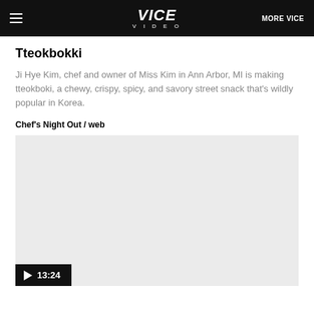VICE VIDEO | MORE VICE
Tteokbokki
Ji Hye Kim, chef and owner of Miss Kim in Ann Arbor, MI is making tteokboki, a chewy, crispy, spicy, and savory street snack that's wildly popular in Korea.
Chef's Night Out / web
[Figure (screenshot): Video player showing a gray thumbnail with a play button badge displaying duration 13:24]